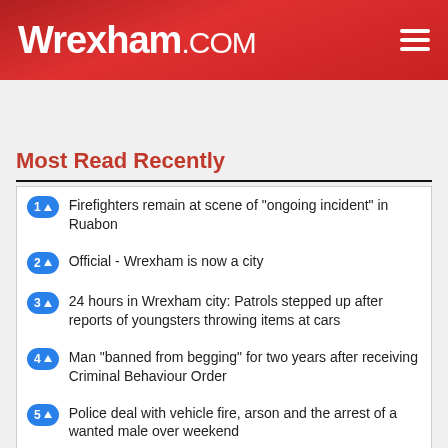Wrexham.com
Most Read Recently
1 ↑  Firefighters remain at scene of "ongoing incident" in Ruabon
2 ↑  Official - Wrexham is now a city
3 ↑  24 hours in Wrexham city: Patrols stepped up after reports of youngsters throwing items at cars
4 ↑  Man "banned from begging" for two years after receiving Criminal Behaviour Order
5 ↑  Police deal with vehicle fire, arson and the arrest of a wanted male over weekend
Twitter  Follow Us